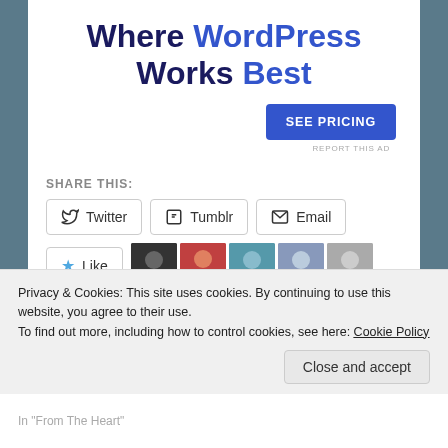Where WordPress Works Best
SEE PRICING
REPORT THIS AD
SHARE THIS:
Twitter  Tumblr  Email
Like
5 bloggers like this.
Valley of Angels Part 3
A Magical Day
Privacy & Cookies: This site uses cookies. By continuing to use this website, you agree to their use.
To find out more, including how to control cookies, see here: Cookie Policy
Close and accept
In "From The Heart"